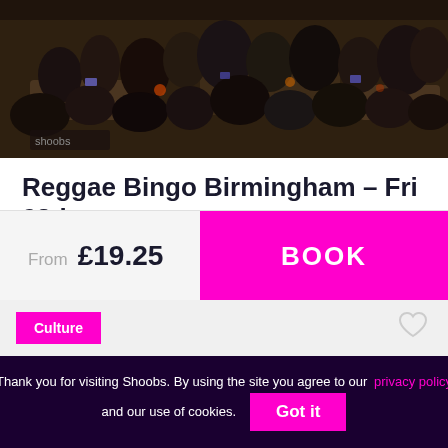[Figure (photo): Crowd of people sitting at tables at an indoor event, viewed from above, dim lighting]
Reggae Bingo Birmingham – Fri 28th...
Friday Oct 28th
@ Secret Location
From £19.25
BOOK
Culture
Thank you for visiting Shoobs. By using the site you agree to our privacy policy and our use of cookies.
Got it